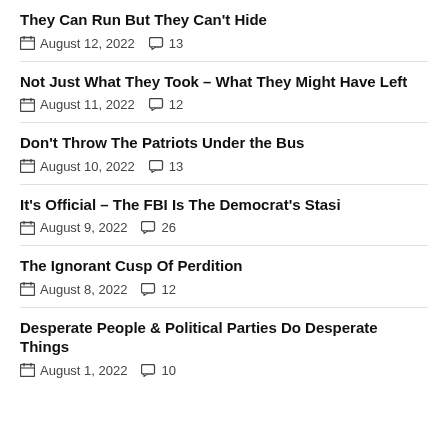They Can Run But They Can't Hide — August 12, 2022 — 13 comments
Not Just What They Took – What They Might Have Left — August 11, 2022 — 12 comments
Don't Throw The Patriots Under the Bus — August 10, 2022 — 13 comments
It's Official – The FBI Is The Democrat's Stasi — August 9, 2022 — 26 comments
The Ignorant Cusp Of Perdition — August 8, 2022 — 12 comments
Desperate People & Political Parties Do Desperate Things — August 1, 2022 — 10 comments